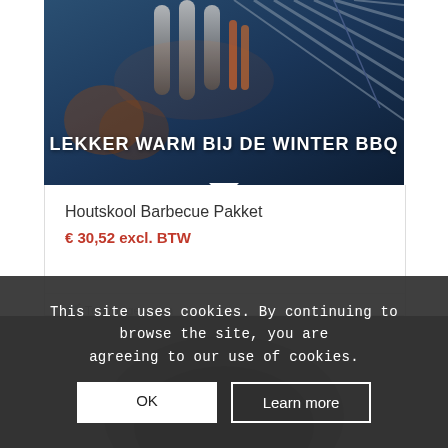[Figure (photo): Product card for Houtskool Barbecue Pakket showing grill/BBQ equipment image with text LEKKER WARM BIJ DE WINTER BBQ on a dark blue background]
Houtskool Barbecue Pakket
€ 30,52 excl. BTW
Toevoegen aan winkelwagen
Toon Details
This site uses cookies. By continuing to browse the site, you are agreeing to our use of cookies.
OK
Learn more